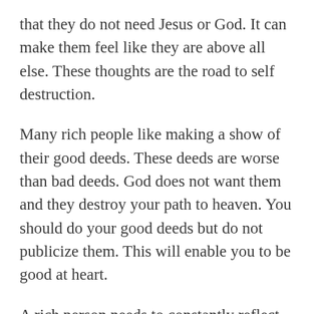that they do not need Jesus or God. It can make them feel like they are above all else. These thoughts are the road to self destruction.
Many rich people like making a show of their good deeds. These deeds are worse than bad deeds. God does not want them and they destroy your path to heaven. You should do your good deeds but do not publicize them. This will enable you to be good at heart.
A rich person needs to constantly reflect on the inside. This is a test for them. They need to see the reasons behind their actions. They need to be well aware of what is in their heart. A good